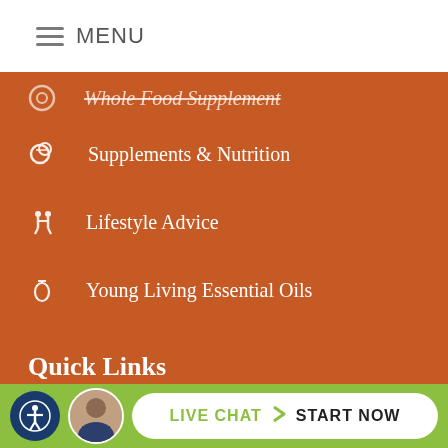MENU
Whole Food Supplement
Supplements & Nutrition
Lifestyle Advice
Young Living Essential Oils
Quick Links
3D Spine
Can Chiropractic Help You?
LIVE CHAT  START NOW